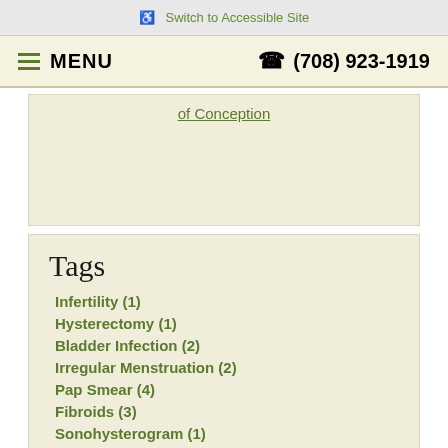♿ Switch to Accessible Site
≡ MENU   ☎ (708) 923-1919
of Conception
Tags
Infertility (1)
Hysterectomy (1)
Bladder Infection (2)
Irregular Menstruation (2)
Pap Smear (4)
Fibroids (3)
Sonohysterogram (1)
IUD (3)